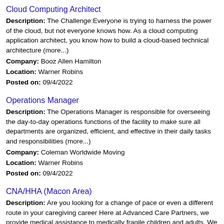Cloud Computing Architect
Description: The Challenge:Everyone is trying to harness the power of the cloud, but not everyone knows how. As a cloud computing application architect, you know how to build a cloud-based technical architecture (more...)
Company: Booz Allen Hamilton
Location: Warner Robins
Posted on: 09/4/2022
Operations Manager
Description: The Operations Manager is responsible for overseeing the day-to-day operations functions of the facility to make sure all departments are organized, efficient, and effective in their daily tasks and responsibilities (more...)
Company: Coleman Worldwide Moving
Location: Warner Robins
Posted on: 09/4/2022
CNA/HHA (Macon Area)
Description: Are you looking for a change of pace or even a different route in your caregiving career Here at Advanced Care Partners, we provide medical assistance to medically fragile children and adults. We have (more...)